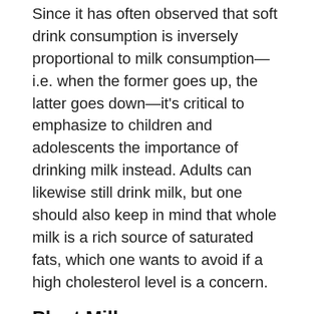Since it has often observed that soft drink consumption is inversely proportional to milk consumption—i.e. when the former goes up, the latter goes down—it's critical to emphasize to children and adolescents the importance of drinking milk instead. Adults can likewise still drink milk, but one should also keep in mind that whole milk is a rich source of saturated fats, which one wants to avoid if a high cholesterol level is a concern.
Plant Milk
Plant-based milk products are a good supplement to dairy milk, something that you can drink as an alternative on other days. Plant milks are typically derived from grains and nuts, which can be helpful if you want to avoid saturated fats or if lactose intolerance is a problem for you. Not milk...